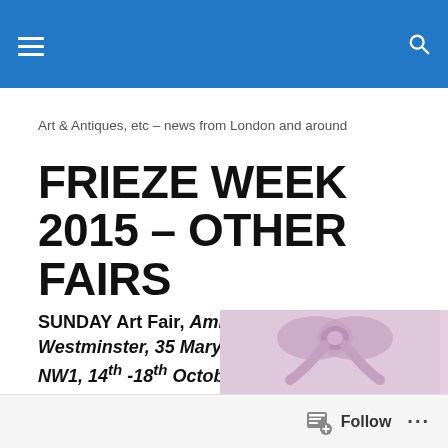Art & Antiques, etc – news from London and around
FRIEZE WEEK 2015 – OTHER FAIRS
SUNDAY Art Fair, Ambika P 3, University of Westminster, 35 Marylebone Road, London NW1, 14th -18th October 2015
[Figure (photo): Partial view of a pink artwork or sculptural piece with a bow or ribbon shape, visible at the bottom of the page]
Follow ...